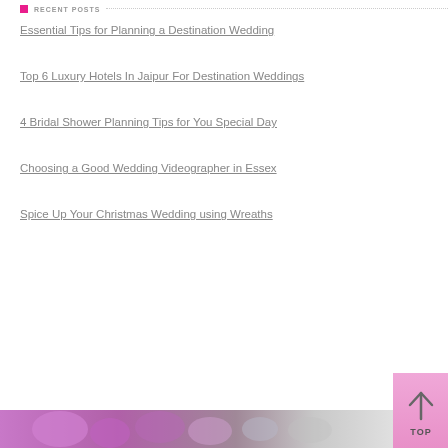RECENT POSTS
Essential Tips for Planning a Destination Wedding
Top 6 Luxury Hotels In Jaipur For Destination Weddings
4 Bridal Shower Planning Tips for You Special Day
Choosing a Good Wedding Videographer in Essex
Spice Up Your Christmas Wedding using Wreaths
[Figure (photo): Bottom strip image with pink and purple floral/wedding themed photo, partially visible at the bottom of the page. A pink 'TOP' button with upward arrow is visible in the bottom right corner.]